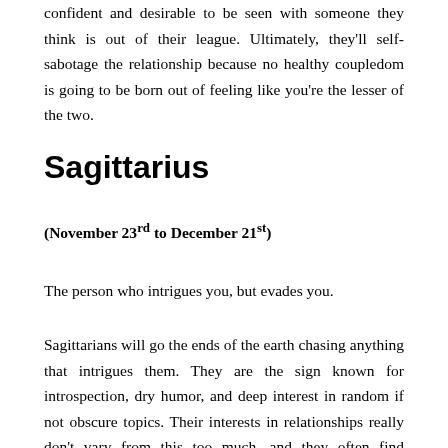confident and desirable to be seen with someone they think is out of their league. Ultimately, they'll self-sabotage the relationship because no healthy coupledom is going to be born out of feeling like you're the lesser of the two.
Sagittarius
(November 23rd to December 21st)
The person who intrigues you, but evades you.
Sagittarians will go the ends of the earth chasing anything that intrigues them. They are the sign known for introspection, dry humor, and deep interest in random if not obscure topics. Their interests in relationships really don't vary from this too much, and they often find themselves interested in people who are significantly different from them in some way. They want to feel completed and engaged by